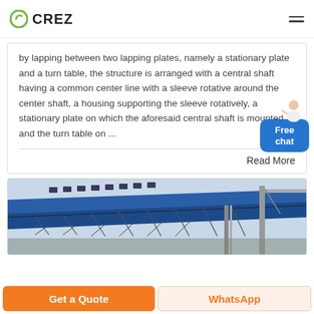CREZ
by lapping between two lapping plates, namely a stationary plate and a turn table, the structure is arranged with a central shaft having a common center line with a sleeve rotative around the center shaft, a housing supporting the sleeve rotatively, a stationary plate on which the aforesaid central shaft is mounted, and the turn table on ...
Read More
[Figure (photo): Industrial overhead conveyor or bridge structure with blue painted steel beams and metal framework, with construction cranes visible in the background against a grey sky.]